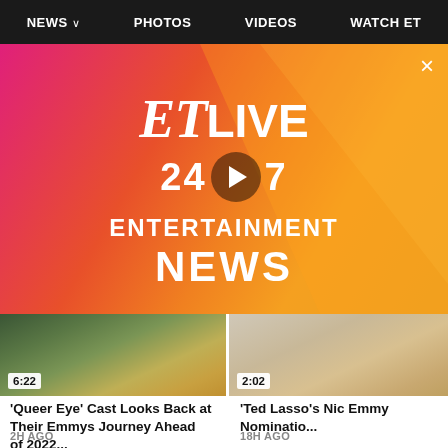NEWS ∨   PHOTOS   VIDEOS   WATCH ET
[Figure (screenshot): ET LIVE 24/7 ENTERTAINMENT NEWS video player banner with pink-to-orange-yellow gradient background, white ET LIVE logo, play button overlay, close (X) button]
[Figure (screenshot): Video thumbnail for 'Queer Eye' Cast segment, duration 6:22]
[Figure (screenshot): Video thumbnail for 'Ted Lasso' segment, duration 2:02]
'Queer Eye' Cast Looks Back at Their Emmys Journey Ahead of 2022...
2H AGO
'Ted Lasso's Nic Emmy Nominatio...
18H AGO